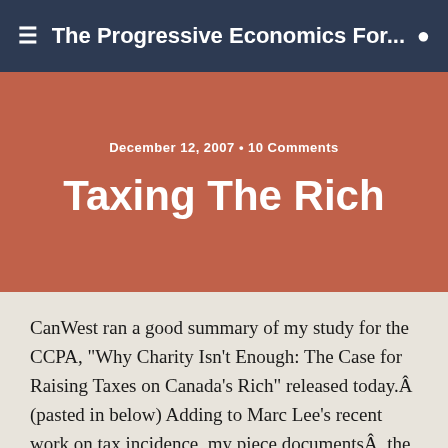The Progressive Economics For...
December 12, 2007 • 10 Comments
Taxing The Rich
CanWest ran a good summary of my study for the CCPA, "Why Charity Isn't Enough: The Case for Raising Taxes on Canada's Rich" released today.Â  (pasted in below) Adding to Marc Lee's recent work on tax incidence, my piece documentsÂ  the fact that recent changes to personal income taxes in Canada have compounded rather than offset increased 'top tail' driven market income inequality, ie the increased pre